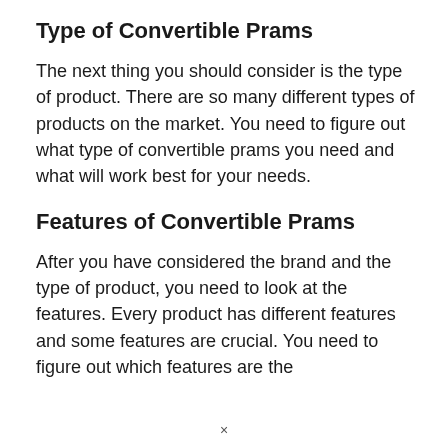Type of Convertible Prams
The next thing you should consider is the type of product. There are so many different types of products on the market. You need to figure out what type of convertible prams you need and what will work best for your needs.
Features of Convertible Prams
After you have considered the brand and the type of product, you need to look at the features. Every product has different features and some features are crucial. You need to figure out which features are the